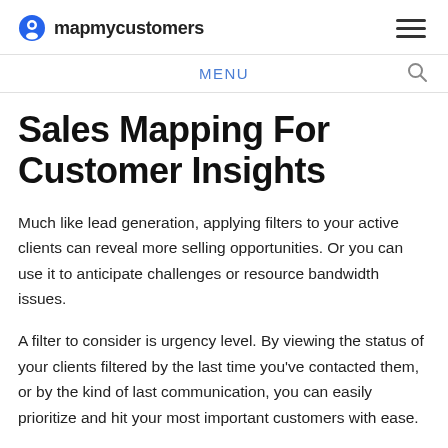mapmycustomers
MENU
Sales Mapping For Customer Insights
Much like lead generation, applying filters to your active clients can reveal more selling opportunities. Or you can use it to anticipate challenges or resource bandwidth issues.
A filter to consider is urgency level. By viewing the status of your clients filtered by the last time you've contacted them, or by the kind of last communication, you can easily prioritize and hit your most important customers with ease.